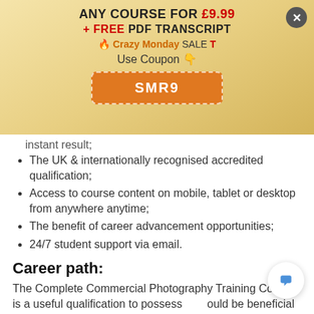[Figure (infographic): Promotional banner: ANY COURSE FOR £9.99 + FREE PDF TRANSCRIPT, Crazy Monday SALE, Use Coupon, SMR9 coupon button on gradient gold background with close button]
instant result;
The UK & internationally recognised accredited qualification;
Access to course content on mobile, tablet or desktop from anywhere anytime;
The benefit of career advancement opportunities;
24/7 student support via email.
Career path:
The Complete Commercial Photography Training Course is a useful qualification to possess and would be beneficial for the following careers:
Travel Photographer